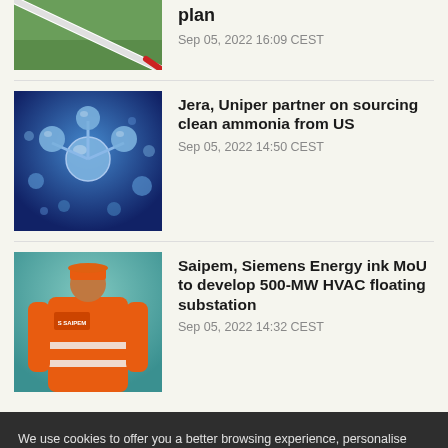[Figure (photo): Partial view of a wind turbine blade against a green field, with a red marker tip visible]
plan
Sep 05, 2022 16:09 CEST
[Figure (photo): Close-up of molecular model structures (blue spheres connected by rods) on a blue background, representing ammonia or hydrogen molecules]
Jera, Uniper partner on sourcing clean ammonia from US
Sep 05, 2022 14:50 CEST
[Figure (photo): Worker in orange high-visibility jacket with Saipem logo, viewed from behind, against a teal/green background]
Saipem, Siemens Energy ink MoU to develop 500-MW HVAC floating substation
Sep 05, 2022 14:32 CEST
We use cookies to offer you a better browsing experience, personalise content and ads, to provide social media features and to analyse our traffic. Read about how we use cookies and how you can control them by clicking Cookie Settings. You consent to our cookies if you continue to use this website.